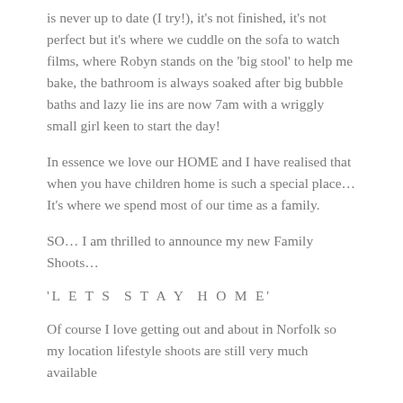is never up to date (I try!), it's not finished, it's not perfect but it's where we cuddle on the sofa to watch films, where Robyn stands on the 'big stool' to help me bake, the bathroom is always soaked after big bubble baths and lazy lie ins are now 7am with a wriggly small girl keen to start the day!
In essence we love our HOME and I have realised that when you have children home is such a special place… It's where we spend most of our time as a family.
SO… I am thrilled to announce my new Family Shoots…
'L E T S  S T A Y  H O M E'
Of course I love getting out and about in Norfolk so my location lifestyle shoots are still very much available